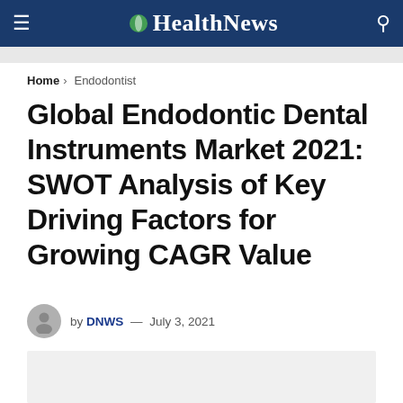HealthNews
Home > Endodontist
Global Endodontic Dental Instruments Market 2021: SWOT Analysis of Key Driving Factors for Growing CAGR Value
by DNWS — July 3, 2021
[Figure (photo): Featured article image placeholder (light grey box)]